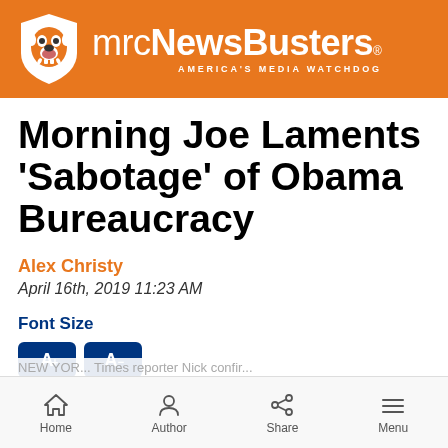mrcNewsBusters® AMERICA'S MEDIA WATCHDOG
Morning Joe Laments 'Sabotage' of Obama Bureaucracy
Alex Christy
April 16th, 2019 11:23 AM
Font Size
Home  Author  Share  Menu